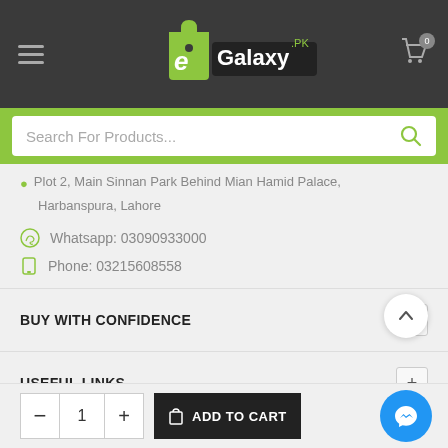[Figure (screenshot): eGalaxy.pk mobile e-commerce website header with logo, hamburger menu, and cart icon on dark background]
[Figure (screenshot): Green search bar with 'Search For Products...' placeholder and search icon]
Plot 2, Main Sinnan Park Behind Mian Hamid Palace, Harbanspura, Lahore
Whatsapp: 03090933000
Phone: 03215608558
BUY WITH CONFIDENCE
USEFUL LINKS
RECENT PRODUCTS
[Figure (screenshot): Bottom bar with quantity control (minus, 1, plus), ADD TO CART button, and Messenger chat button]